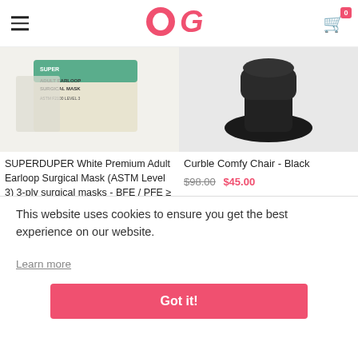OG logo with hamburger menu and cart icon (0 items)
[Figure (photo): Product image of SUPERDUPER Adult Earloop Surgical Mask box, white/green packaging]
SUPERDUPER White Premium Adult Earloop Surgical Mask (ASTM Level 3) 3-ply surgical masks - BFE / PFE ≥ 99% Made in Singa
$35.0
-54%
[Figure (photo): Product image of Curble Comfy Chair in Black color]
Curble Comfy Chair - Black
$98.00  $45.00
This website uses cookies to ensure you get the best experience on our website.
Learn more
Got it!